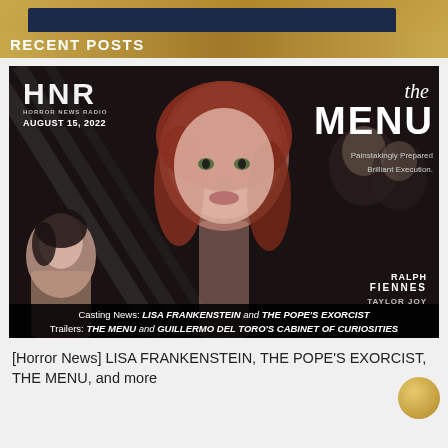RECENT POSTS
[Figure (photo): Horror News Radio (HNR) promotional image dated August 15, 2022. Shows a woman with red hair in the center (Anya Taylor-Joy from The Menu), a female radio host in lower left, and text overlays including HNR logo, 'the MENU', 'Painstakingly Prepared. Brilliant Execution.', 'RALPH FIENNES', 'TAYLOR JOY'. Bottom caption bar reads: 'Casting News: LISA FRANKENSTEIN and THE POPE'S EXORCIST / Trailers: THE MENU and GUILLERMO DEL TORO'S CABINET OF CURIOSITIES']
[Horror News] LISA FRANKENSTEIN, THE POPE'S EXORCIST, THE MENU, and more